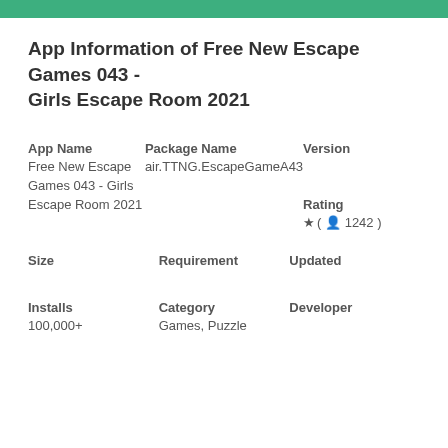App Information of Free New Escape Games 043 - Girls Escape Room 2021
| App Name | Package Name | Version |
| --- | --- | --- |
| Free New Escape Games 043 - Girls Escape Room 2021 | air.TTNG.EscapeGameA43 |  |
|  |  | Rating |
|  |  | ★ ( 👤 1242 ) |
| Size | Requirement | Updated |
| --- | --- | --- |
| Installs | Category | Developer |
| --- | --- | --- |
| 100,000+ | Games, Puzzle |  |